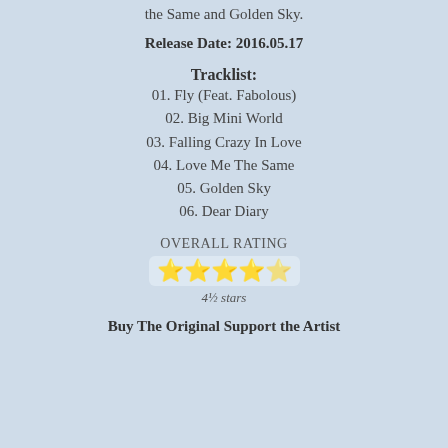the Same and Golden Sky.
Release Date: 2016.05.17
Tracklist:
01. Fly (Feat. Fabolous)
02. Big Mini World
03. Falling Crazy In Love
04. Love Me The Same
05. Golden Sky
06. Dear Diary
OVERALL RATING
[Figure (other): 4.5 out of 5 stars rating shown as emoji stars]
4½ stars
Buy The Original Support the Artist